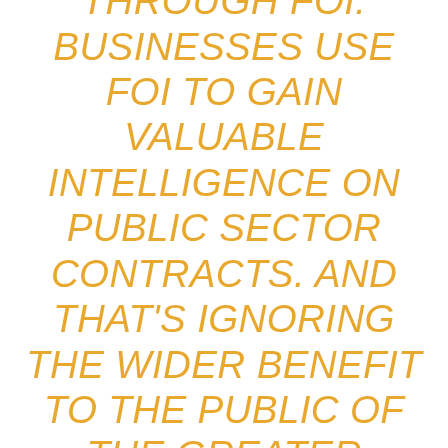CAMPAIGNS USING INFORMATION OBTAINED THROUGH FOI. BUSINESSES USE FOI TO GAIN VALUABLE INTELLIGENCE ON PUBLIC SECTOR CONTRACTS. AND THAT'S IGNORING THE WIDER BENEFIT TO THE PUBLIC OF THE GREATER TRANSPARENCY THAT FOI HAS BROUGHT. AND IT